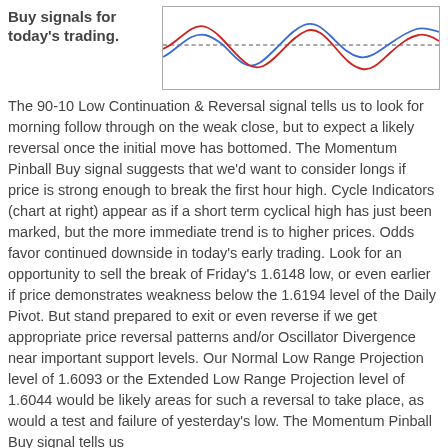Buy signals for today's trading.
[Figure (continuous-plot): Line chart showing cycle indicators with blue and red oscillating lines and a dotted reference line, displayed in a bordered box at the top right of the page.]
The 90-10 Low Continuation & Reversal signal tells us to look for morning follow through on the weak close, but to expect a likely reversal once the initial move has bottomed. The Momentum Pinball Buy signal suggests that we'd want to consider longs if price is strong enough to break the first hour high. Cycle Indicators (chart at right) appear as if a short term cyclical high has just been marked, but the more immediate trend is to higher prices. Odds favor continued downside in today's early trading. Look for an opportunity to sell the break of Friday's 1.6148 low, or even earlier if price demonstrates weakness below the 1.6194 level of the Daily Pivot. But stand prepared to exit or even reverse if we get appropriate price reversal patterns and/or Oscillator Divergence near important support levels. Our Normal Low Range Projection level of 1.6093 or the Extended Low Range Projection level of 1.6044 would be likely areas for such a reversal to take place, as would a test and failure of yesterday's low. The Momentum Pinball Buy signal tells us